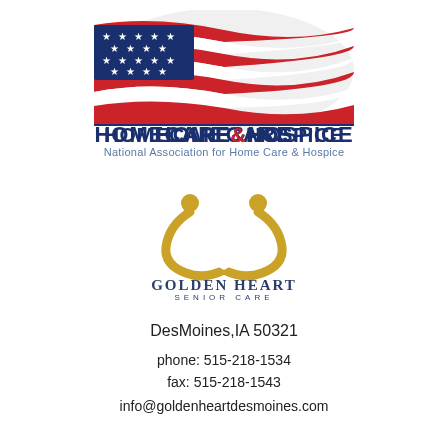[Figure (logo): Homecare & Hospice logo with American flag waving graphic above text 'HOMECARE & HOSPICE' and subtitle 'National Association for Home Care & Hospice']
[Figure (logo): Golden Heart Senior Care logo with two gold figures forming a heart shape, text 'GOLDEN HEART' large and 'SENIOR CARE' spaced below]
DesMoines,IA 50321
phone: 515-218-1534
fax: 515-218-1543
info@goldenheartdesmoines.com